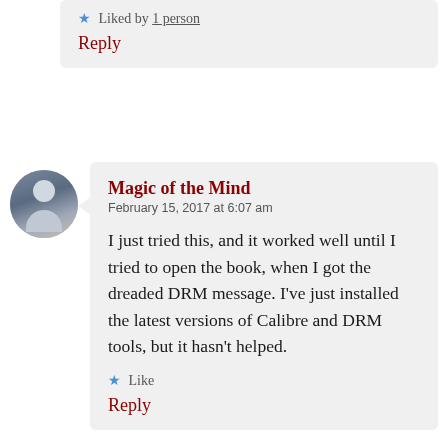★ Liked by 1 person
Reply
Magic of the Mind
February 15, 2017 at 6:07 am
I just tried this, and it worked well until I tried to open the book, when I got the dreaded DRM message. I’ve just installed the latest versions of Calibre and DRM tools, but it hasn’t helped.
★ Like
Reply